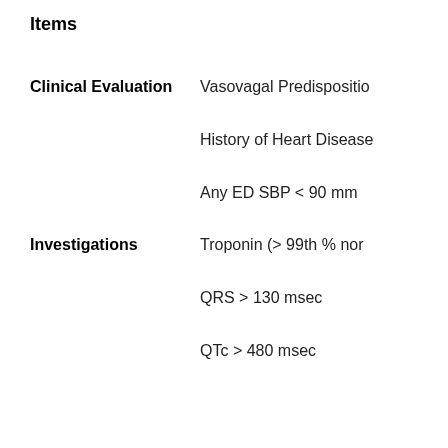Items
Clinical Evaluation
Vasovagal Predisposition
History of Heart Disease
Any ED SBP < 90 mm
Investigations
Troponin (> 99th % nor
QRS > 130 msec
QTc > 480 msec